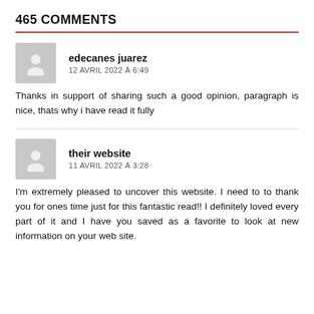465 COMMENTS
edecanes juarez
12 AVRIL 2022 À 6:49
Thanks in support of sharing such a good opinion, paragraph is nice, thats why i have read it fully
their website
11 AVRIL 2022 À 3:28
I'm extremely pleased to uncover this website. I need to to thank you for ones time just for this fantastic read!! I definitely loved every part of it and I have you saved as a favorite to look at new information on your web site.